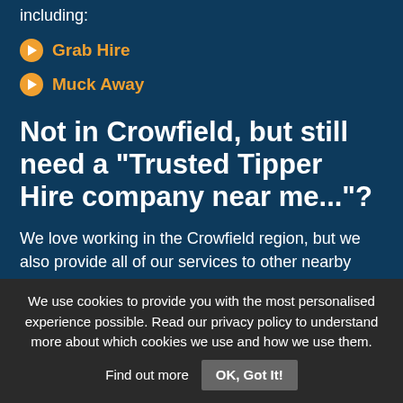including:
Grab Hire
Muck Away
Not in Crowfield, but still need a "Trusted Tipper Hire company near me..."?
We love working in the Crowfield region, but we also provide all of our services to other nearby locations:
We use cookies to provide you with the most personalised experience possible. Read our privacy policy to understand more about which cookies we use and how we use them. Find out more  OK, Got It!